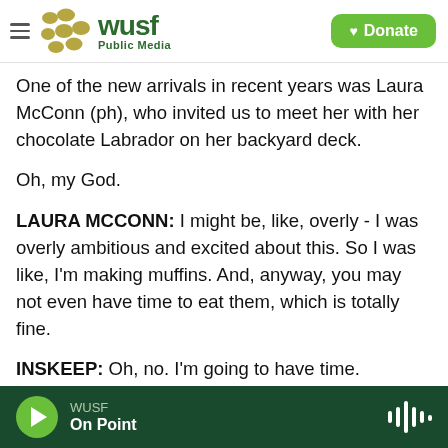WUSF Public Media | Donate
One of the new arrivals in recent years was Laura McConn (ph), who invited us to meet her with her chocolate Labrador on her backyard deck.
Oh, my God.
LAURA MCCONN: I might be, like, overly - I was overly ambitious and excited about this. So I was like, I'm making muffins. And, anyway, you may not even have time to eat them, which is totally fine.
INSKEEP: Oh, no. I'm going to have time.
She moved here from Ohio several years ago when
WUSF | On Point